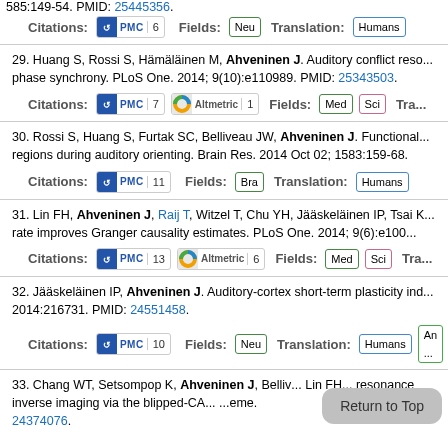585:149-54. PMID: 25445356.
Citations: PMC 6   Fields: Neu   Translation: Humans
29. Huang S, Rossi S, Hämäläinen M, Ahveninen J. Auditory conflict resolution is associated with cortical phase synchrony. PLoS One. 2014; 9(10):e110989. PMID: 25343503.
Citations: PMC 7  Altmetric 1  Fields: Med Sci  Tra...
30. Rossi S, Huang S, Furtak SC, Belliveau JW, Ahveninen J. Functional specialization of human auditory cortex regions during auditory orienting. Brain Res. 2014 Oct 02; 1583:159-68.
Citations: PMC 11  Fields: Bra  Translation: Humans
31. Lin FH, Ahveninen J, Raij T, Witzel T, Chu YH, Jääskeläinen IP, Tsai K... rate improves Granger causality estimates. PLoS One. 2014; 9(6):e100...
Citations: PMC 13  Altmetric 6  Fields: Med Sci  Tra...
32. Jääskeläinen IP, Ahveninen J. Auditory-cortex short-term plasticity ind... 2014:216731. PMID: 24551458.
Citations: PMC 10  Fields: Neu  Translation: Humans  An...
33. Chang WT, Setsompop K, Ahveninen J, Belliv... Lin FH... resonance inverse imaging via the blipped-CA... scheme. PMID: 24374076.